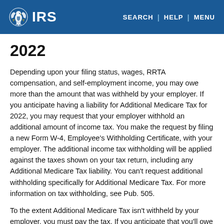IRS | SEARCH | HELP | MENU
2022
Depending upon your filing status, wages, RRTA compensation, and self-employment income, you may owe more than the amount that was withheld by your employer. If you anticipate having a liability for Additional Medicare Tax for 2022, you may request that your employer withhold an additional amount of income tax. You make the request by filing a new Form W-4, Employee's Withholding Certificate, with your employer. The additional income tax withholding will be applied against the taxes shown on your tax return, including any Additional Medicare Tax liability. You can't request additional withholding specifically for Additional Medicare Tax. For more information on tax withholding, see Pub. 505.
To the extent Additional Medicare Tax isn't withheld by your employer, you must pay the tax. If you anticipate that you'll owe Additional Medicare Tax for 2022 but not enough...